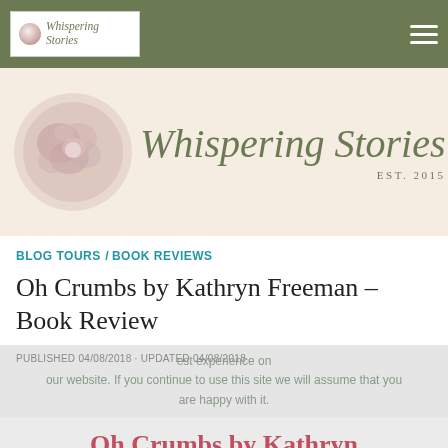Whispering Stories
[Figure (logo): Whispering Stories blog banner with circular floral/rose logo and cursive script title EST. 2015]
BLOG TOURS / BOOK REVIEWS
Oh Crumbs by Kathryn Freeman – Book Review
PUBLISHED 04/08/2018 · UPDATED 04/08/2018
best experience on our website. If you continue to use this site we will assume that you are happy with it.
Oh Crumbs by Kathryn